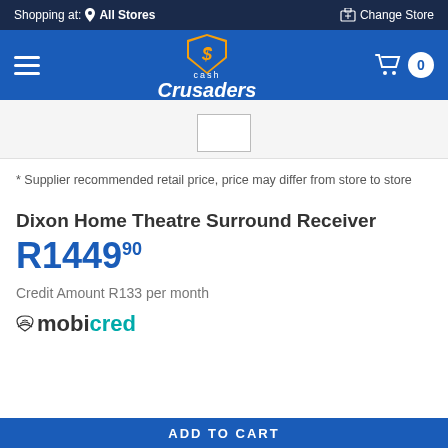Shopping at: All Stores | Change Store
[Figure (logo): Cash Crusaders logo with shopping cart icon showing 0 items]
[Figure (photo): Product image placeholder box]
* Supplier recommended retail price, price may differ from store to store
Dixon Home Theatre Surround Receiver
R1449.90
Credit Amount R133 per month
[Figure (logo): mobicred logo - mobi in dark, cred in teal, with wifi signal icon]
ADD TO CART